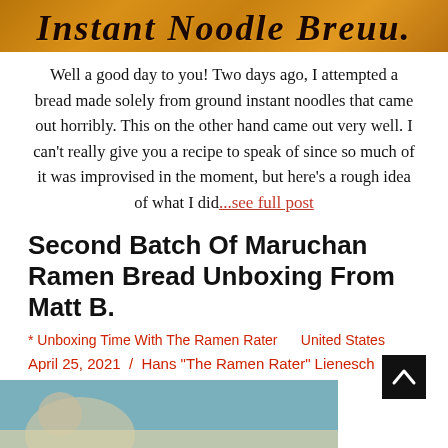[Figure (illustration): Decorative script text banner reading 'Instant Noodle Bread' in cursive font on a warm golden/orange textured background]
Well a good day to you! Two days ago, I attempted a bread made solely from ground instant noodles that came out horribly. This on the other hand came out very well. I can't really give you a recipe to speak of since so much of it was improvised in the moment, but here's a rough idea of what I did...see full post
Second Batch Of Maruchan Ramen Bread Unboxing From Matt B.
* Unboxing Time With The Ramen Rater     United States
April 25, 2021  /  Hans "The Ramen Rater" Lienesch
[Figure (photo): Partial photo visible at bottom of page, appears to show a person or food item]